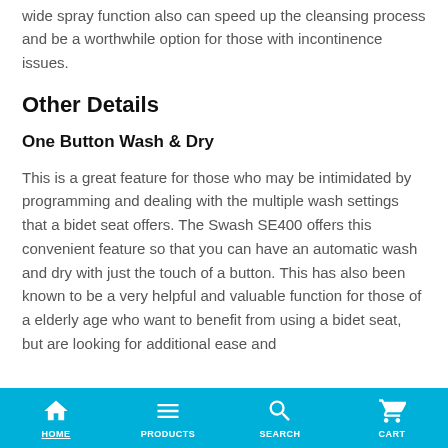wide spray function also can speed up the cleansing process and be a worthwhile option for those with incontinence issues.
Other Details
One Button Wash & Dry
This is a great feature for those who may be intimidated by programming and dealing with the multiple wash settings that a bidet seat offers. The Swash SE400 offers this convenient feature so that you can have an automatic wash and dry with just the touch of a button. This has also been known to be a very helpful and valuable function for those of a elderly age who want to benefit from using a bidet seat, but are looking for additional ease and
HOME  PRODUCTS  SEARCH  CART